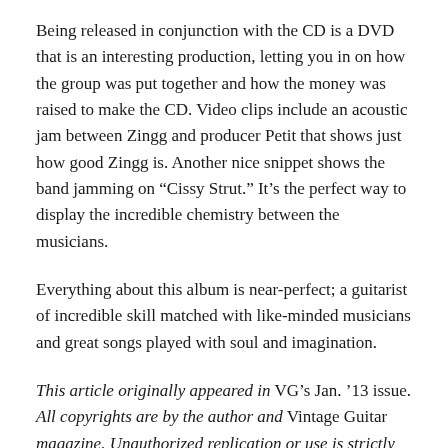Being released in conjunction with the CD is a DVD that is an interesting production, letting you in on how the group was put together and how the money was raised to make the CD. Video clips include an acoustic jam between Zingg and producer Petit that shows just how good Zingg is. Another nice snippet shows the band jamming on “Cissy Strut.” It’s the perfect way to display the incredible chemistry between the musicians.
Everything about this album is near-perfect; a guitarist of incredible skill matched with like-minded musicians and great songs played with soul and imagination.
This article originally appeared in VG’s Jan. ’13 issue. All copyrights are by the author and Vintage Guitar magazine. Unauthorized replication or use is strictly prohibited.